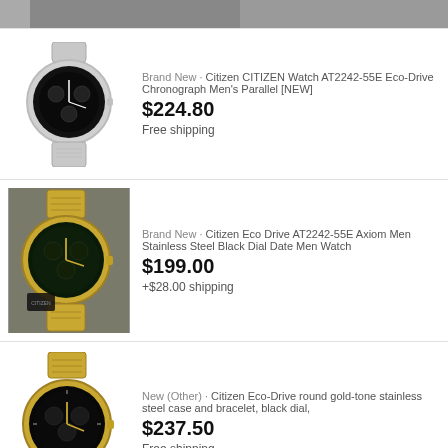[Figure (photo): Partial image of a watch at the top of the page (cropped)]
[Figure (photo): Citizen CITIZEN Watch AT2242-55E Eco-Drive Chronograph silver bracelet with black dial]
Brand New · Citizen CITIZEN Watch AT2242-55E Eco-Drive Chronograph Men&#39;s Parallel [NEW]
$224.80
Free shipping
[Figure (photo): Citizen Eco Drive AT2242-55E Axiom Men gold bracelet with dark green/black dial]
Brand New · Citizen Eco Drive AT2242-55E Axiom Men Stainless Steel Black Dial Date Men Watch
$199.00
+$28.00 shipping
[Figure (photo): Citizen Eco-Drive gold-tone stainless steel case and bracelet with black dial]
New (Other) · Citizen Eco-Drive round gold-tone stainless steel case and bracelet, black dial,
$237.50
Free shipping